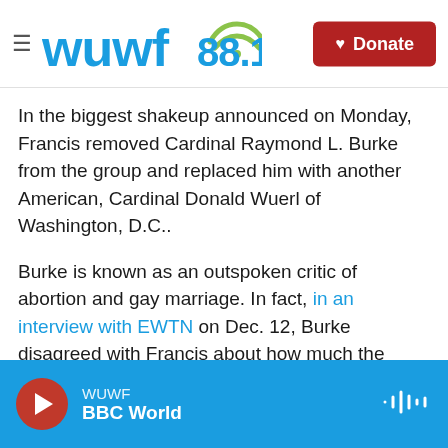WUWF 88.1 — Donate
In the biggest shakeup announced on Monday, Francis removed Cardinal Raymond L. Burke from the group and replaced him with another American, Cardinal Donald Wuerl of Washington, D.C..
Burke is known as an outspoken critic of abortion and gay marriage. In fact, in an interview with EWTN on Dec. 12, Burke disagreed with Francis about how much the Catholic leadership should talk about the issues.
"One gets the impression, or it's interpreted this way in the media, that he thinks we're talking too
WUWF — BBC World